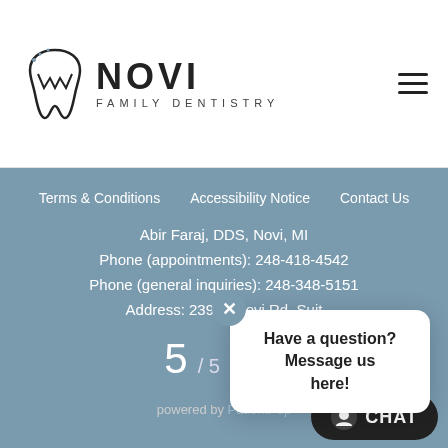[Figure (logo): Novi Family Dentistry logo with tooth icon and text NOVI FAMILY DENTISTRY]
Terms & Conditions   Accessibility Notice   Contact Us
Abir Faraj, DDS, Novi, MI
Phone (appointments): 248-418-4542
Phone (general inquiries): 248-348-5151
Address: 23975 Novi Rd, Suit...
5 / 5  ★ (4...)
powered by PatientPop
[Figure (other): Chat popup with close button and text: Have a question? Message us here!]
CHAT